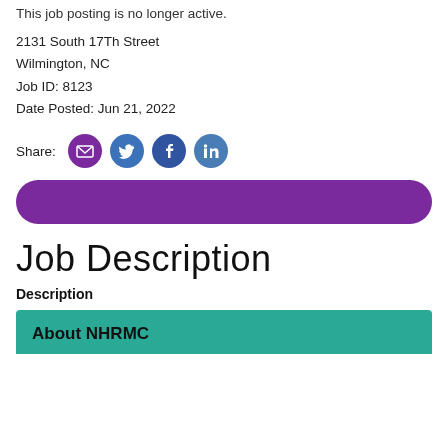This job posting is no longer active.
2131 South 17Th Street
Wilmington, NC
Job ID: 8123
Date Posted: Jun 21, 2022
[Figure (infographic): Share row with email, twitter, facebook, linkedin social icon buttons]
[Figure (other): Purple rounded button bar]
Job Description
Description
About NHRMC